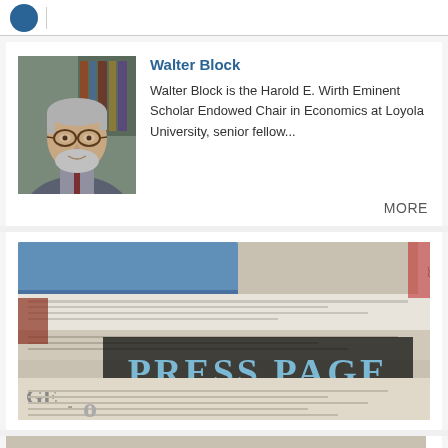Walter Block
Walter Block is the Harold E. Wirth Eminent Scholar Endowed Chair in Economics at Loyola University, senior fellow...
MORE
[Figure (photo): Stack of newspapers with 'PRESS PAGE' text overlay in blue on dark background]
[Figure (photo): Partial view of another section at the bottom of the page]